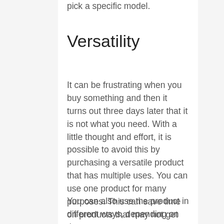pick a specific model.
Versatility
It can be frustrating when you buy something and then it turns out three days later that it is not what you need. With a little thought and effort, it is possible to avoid this by purchasing a versatile product that has multiple uses. You can use one product for many purposes. This can save time on products that may not get used up quickly.
You can also use the product in different ways, depending on the